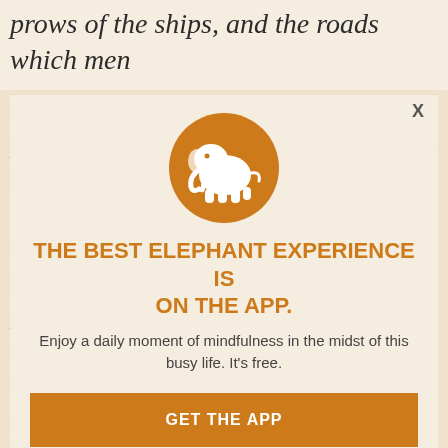prows of the ships, and the roads which men
travel by land whether come the horses home, protect your people and bring their land back to life.
[Figure (logo): Orange circular icon with white elephant silhouette]
THE BEST ELEPHANT EXPERIENCE IS ON THE APP.
Enjoy a daily moment of mindfulness in the midst of this busy life. It's free.
Stories speak to us deep down patterns but the shapes are always shifting which is why the particulars are always fresh. At most I can say know what is happening on earth put on this Earth to help one another, to call even the sun out of hiding from the seems she has hid herself forever. Whatever happens, hold
GET THE APP
OPEN IN APP